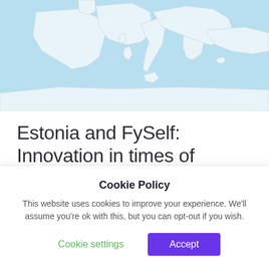[Figure (map): Map showing Europe and surrounding regions with light blue water background and white/light-outlined land masses including Spain, France, Italy, Greece, and surrounding countries.]
Estonia and FySelf: Innovation in times of COVID-19
Estonia is the first digital nation in the world. It is in this European country that our FySelf platform was
Cookie Policy
This website uses cookies to improve your experience. We'll assume you're ok with this, but you can opt-out if you wish.
Cookie settings
Accept